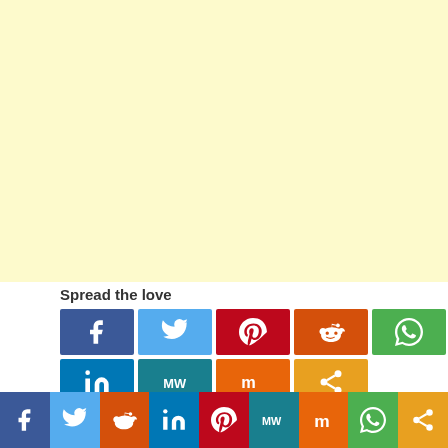[Figure (illustration): Large light yellow/cream colored background area filling the upper portion of the page]
Spread the love
[Figure (infographic): Grid of social media share buttons: Facebook, Twitter, Pinterest, Reddit, WhatsApp (row 1); LinkedIn, MeWe, Mix, Share (row 2)]
[Figure (infographic): Bottom bar with social media icons: Facebook, Twitter, Reddit, LinkedIn, Pinterest, MeWe, Mix, WhatsApp, Share]